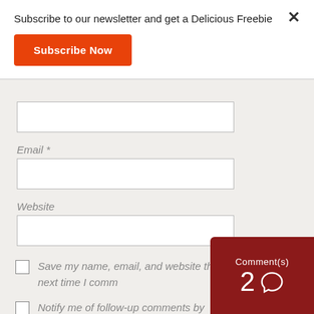Subscribe to our newsletter and get a Delicious Freebie
Subscribe Now
Email *
Website
Save my name, email, and website in this browser for the next time I comment.
Notify me of follow-up comments by
Comment(s)
2